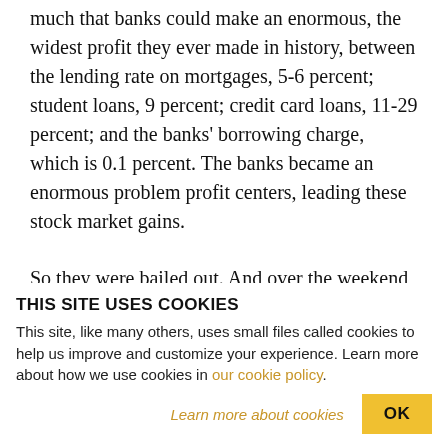much that banks could make an enormous, the widest profit they ever made in history, between the lending rate on mortgages, 5-6 percent; student loans, 9 percent; credit card loans, 11-29 percent; and the banks' borrowing charge, which is 0.1 percent. The banks became an enormous problem profit centers, leading these stock market gains.
So they were bailed out. And over the weekend, the newspapers say, look at the wonderful success. The stock market's up, the one percent are richer than
THIS SITE USES COOKIES
This site, like many others, uses small files called cookies to help us improve and customize your experience. Learn more about how we use cookies in our cookie policy.
Learn more about cookies   OK